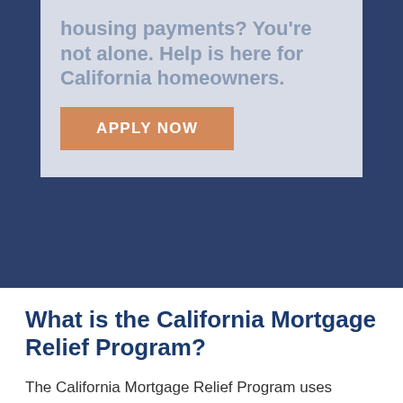housing payments? You're not alone. Help is here for California homeowners.
APPLY NOW
What is the California Mortgage Relief Program?
The California Mortgage Relief Program uses federal Homeowner Assistance Funds to help